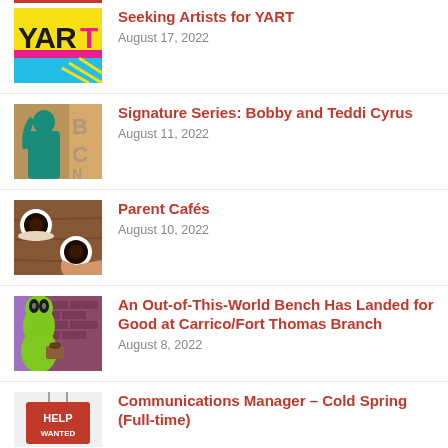Seeking Artists for YART
August 17, 2022
Signature Series: Bobby and Teddi Cyrus
August 11, 2022
Parent Cafés
August 10, 2022
An Out-of-This-World Bench Has Landed for Good at Carrico/Fort Thomas Branch
August 8, 2022
Communications Manager – Cold Spring (Full-time)